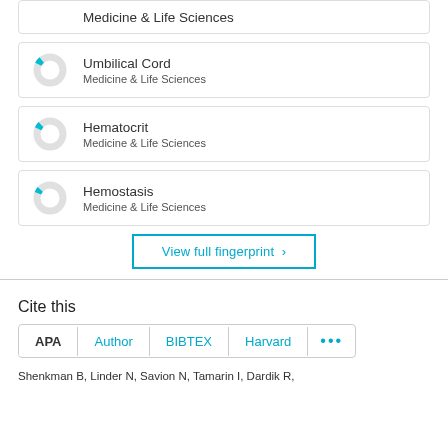Umbilical Cord — Medicine & Life Sciences
Hematocrit — Medicine & Life Sciences
Hemostasis — Medicine & Life Sciences
View full fingerprint ›
Cite this
APA  Author  BIBTEX  Harvard  •••
Shenkman B, Linder N, Savion N, Tamarin I, Dardik R,